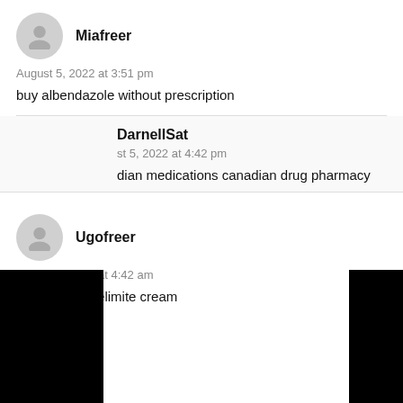Miafreer
August 5, 2022 at 3:51 pm
buy albendazole without prescription
DarnellSat
August 5, 2022 at 4:42 pm
dian medications canadian drug pharmacy
Ugofreer
August 6, 2022 at 4:42 am
where to buy elimite cream